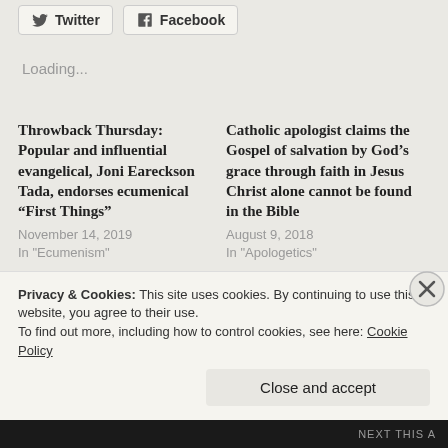Twitter
Facebook
Loading...
Throwback Thursday: Popular and influential evangelical, Joni Eareckson Tada, endorses ecumenical “First Things”
November 14, 2019
In "Ecumenism"
Catholic apologist claims the Gospel of salvation by God’s grace through faith in Jesus Christ alone cannot be found in the Bible
August 9, 2018
In "Apologetics"
Throwback Thursday: Priests and ministers: Aren’t they the
Privacy & Cookies: This site uses cookies. By continuing to use this website, you agree to their use.
To find out more, including how to control cookies, see here: Cookie Policy
Close and accept